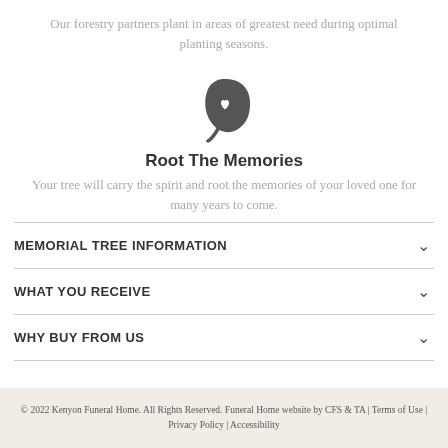Our forestry partners plant in areas of greatest need during optimal planting seasons.
[Figure (illustration): A leaf icon with a heart cutout in the center, dark gray color]
Root The Memories
Your tree will carry the spirit and root the memories of your loved one for many years to come.
MEMORIAL TREE INFORMATION
WHAT YOU RECEIVE
WHY BUY FROM US
© 2022 Kenyon Funeral Home. All Rights Reserved. Funeral Home website by CFS & TA | Terms of Use | Privacy Policy | Accessibility